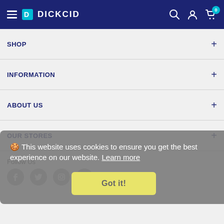DICKCID — navigation header with hamburger menu, logo, search, account, and cart icons
SHOP +
INFORMATION +
ABOUT US +
OUR STORES +
🍪 This website uses cookies to ensure you get the best experience on our website. Learn more
Got it!
Follow Us